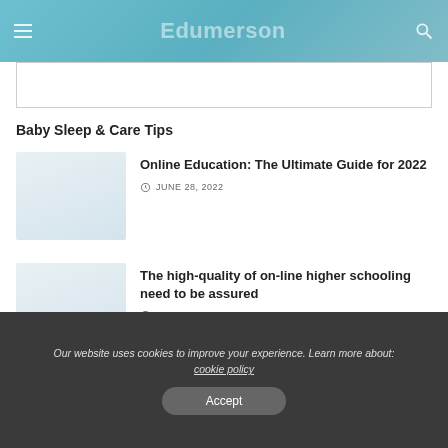Edumerson
Baby Sleep & Care Tips
Online Education: The Ultimate Guide for 2022
JUNE 28, 2022
The high-quality of on-line higher schooling need to be assured
JANUARY 11, 2022
Our website uses cookies to improve your experience. Learn more about: cookie policy